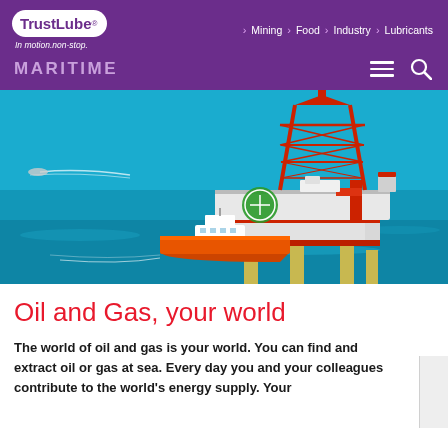TrustLube® | Mining | Food | Industry | Lubricants | In motion.non-stop. | MARITIME
[Figure (photo): Aerial photograph of an offshore oil and gas drilling platform (jack-up rig) surrounded by blue sea water, with a supply vessel/tugboat visible in the foreground and a smaller boat leaving a wake in the background. The rig has red and white structural steel lattice towers, a green helipad, and orange/white lower hull sections.]
Oil and Gas, your world
The world of oil and gas is your world. You can find and extract oil or gas at sea. Every day you and your colleagues contribute to the world's energy supply. Your